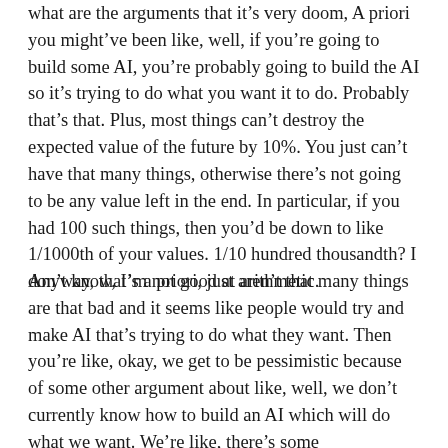what are the arguments that it's very doom, A priori you might've been like, well, if you're going to build some AI, you're probably going to build the AI so it's trying to do what you want it to do. Probably that's that. Plus, most things can't destroy the expected value of the future by 10%. You just can't have that many things, otherwise there's not going to be any value left in the end. In particular, if you had 100 such things, then you'd be down to like 1/1000th of your values. 1/10 hundred thousandth? I don't know, I'm not good at arithmetic.
Anyway, that's a priori, just aren't that many things are that bad and it seems like people would try and make AI that's trying to do what they want. Then you're like, okay, we get to be pessimistic because of some other argument about like, well, we don't currently know how to build an AI which will do what we want. We're like, there's some extrapolation of current techniques on which we're